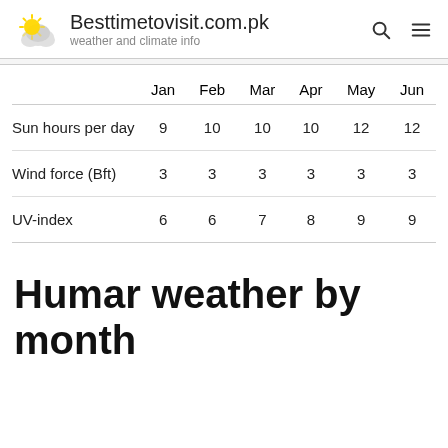Besttimetovisit.com.pk — weather and climate info
|  | Jan | Feb | Mar | Apr | May | Jun |
| --- | --- | --- | --- | --- | --- | --- |
| Sun hours per day | 9 | 10 | 10 | 10 | 12 | 12 |
| Wind force (Bft) | 3 | 3 | 3 | 3 | 3 | 3 |
| UV-index | 6 | 6 | 7 | 8 | 9 | 9 |
Humar weather by month